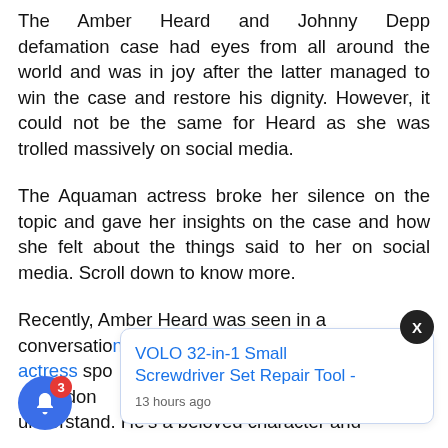The Amber Heard and Johnny Depp defamation case had eyes from all around the world and was in joy after the latter managed to win the case and restore his dignity. However, it could not be the same for Heard as she was trolled massively on social media.
The Aquaman actress broke her silence on the topic and gave her insights on the case and how she felt about the things said to her on social media. Scroll down to know more.
Recently, Amber Heard was seen in a conversation actress spo, "I don understand. He's a beloved character and
[Figure (screenshot): Ad notification card showing 'VOLO 32-in-1 Small Screwdriver Set Repair Tool - 13 hours ago' with a blue X close button and a blue notification bell icon with badge showing 3]